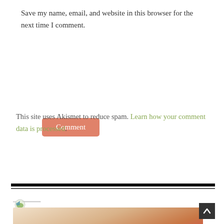Save my name, email, and website in this browser for the next time I comment.
Comment
This site uses Akismet to reduce spam. Learn how your comment data is processed.
[Figure (other): Small website logo icon with bird/leaf graphic]
[Figure (photo): Partial photo of food item, appears to be a pastry or sandwich with reddish filling, light background]